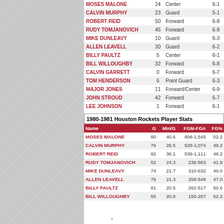| Name | # | Position | Ht |
| --- | --- | --- | --- |
| MOSES MALONE | 24 | Center | 6-1 |
| CALVIN MURPHY | 23 | Guard | 5-1 |
| ROBERT REID | 50 | Forward | 6-8 |
| RUDY TOMJANOVICH | 45 | Forward | 6-8 |
| MIKE DUNLEAVY | 10 | Guard | 6-3 |
| ALLEN LEAVELL | 30 | Guard | 6-2 |
| BILLY PAULTZ | 5 | Center | 6-1 |
| BILL WILLOUGHBY | 32 | Forward | 6-8 |
| CALVIN GARRETT | 0 | Forward | 6-7 |
| TOM HENDERSON | 6 | Point Guard | 6-3 |
| MAJOR JONES | 11 | Forward/Center | 6-9 |
| JOHN STROUD | 42 | Forward | 6-7 |
| LEE JOHNSON | 1 | Forward | 6-1 |
1980-1981 Houston Rockets Player Stats
| Name | G | Min/G | FGM-FGA | FG% |
| --- | --- | --- | --- | --- |
| MOSES MALONE | 80 | 40.6 | 806-1,545 | 52.2 |
| CALVIN MURPHY | 76 | 26.5 | 528-1,074 | 49.2 |
| ROBERT REID | 82 | 36.1 | 536-1,111 | 48.2 |
| RUDY TOMJANOVICH | 52 | 24.3 | 236-563 | 41.9 |
| MIKE DUNLEAVY | 74 | 21.7 | 310-632 | 49.0 |
| ALLEN LEAVELL | 79 | 21.3 | 258-548 | 47.0 |
| BILLY PAULTZ | 81 | 20.5 | 262-517 | 50.6 |
| BILL WILLOUGHBY | 55 | 20.8 | 150-287 | 52.2 |